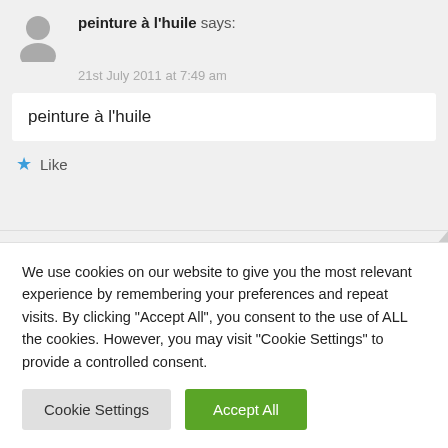peinture à l'huile says:
21st July 2011 at 7:49 am
peinture à l'huile
Like
We use cookies on our website to give you the most relevant experience by remembering your preferences and repeat visits. By clicking "Accept All", you consent to the use of ALL the cookies. However, you may visit "Cookie Settings" to provide a controlled consent.
Cookie Settings
Accept All